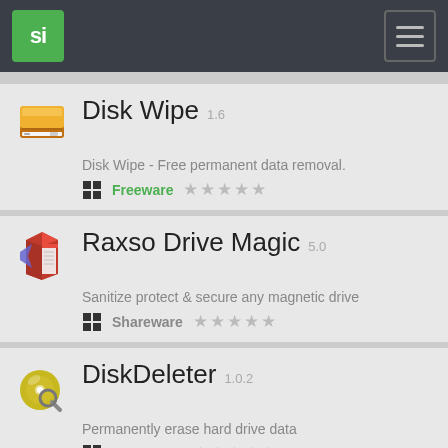si [logo] [menu]
Disk Wipe 1.6 - Disk Wipe - Free permanent data removal. Freeware
Raxso Drive Magic 5.0 - Sanitize protect & secure any magnetic drive. Shareware
DiskDeleter 1.0.2 - Permanently erase hard drive data. Shareware
Complete Cleanup 5.16